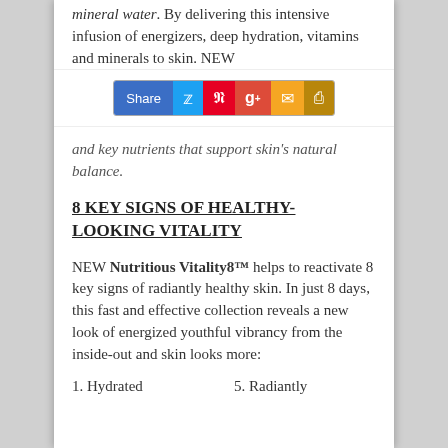mineral water. By delivering this intensive infusion of energizers, deep hydration, vitamins and minerals to skin. NEW
[Figure (other): Social sharing bar with Share, Twitter, Pinterest, Google+, Email, and Print buttons]
and key nutrients that support skin's natural balance.
8 KEY SIGNS OF HEALTHY-LOOKING VITALITY
NEW Nutritious Vitality8™ helps to reactivate 8 key signs of radiantly healthy skin. In just 8 days, this fast and effective collection reveals a new look of energized youthful vibrancy from the inside-out and skin looks more:
1. Hydrated
5. Radiantly